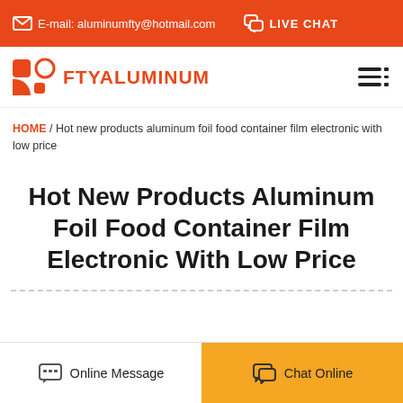E-mail: aluminumfty@hotmail.com  LIVE CHAT
[Figure (logo): FTYALUMINUM logo with orange geometric squares and circles icon]
HOME / Hot new products aluminum foil food container film electronic with low price
Hot New Products Aluminum Foil Food Container Film Electronic With Low Price
Online Message  Chat Online